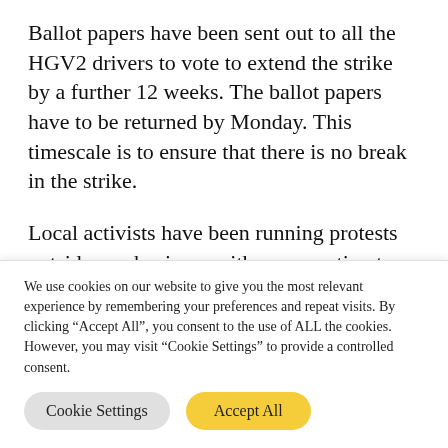Ballot papers have been sent out to all the HGV2 drivers to vote to extend the strike by a further 12 weeks. The ballot papers have to be returned by Monday. This timescale is to ensure that there is no break in the strike.
Local activists have been running protests outside any business with a connection to Tom White Waste (TWW) management or
We use cookies on our website to give you the most relevant experience by remembering your preferences and repeat visits. By clicking "Accept All", you consent to the use of ALL the cookies. However, you may visit "Cookie Settings" to provide a controlled consent.